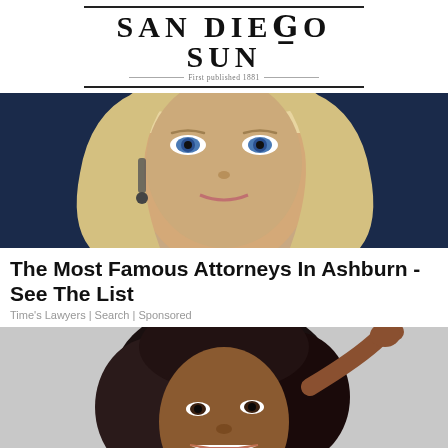San Diego Sun — First published 1881
[Figure (photo): Close-up portrait of a blonde woman with blue eyes wearing sparkly drop earrings against a dark blue background]
The Most Famous Attorneys In Ashburn - See The List
Time's Lawyers | Search | Sponsored
[Figure (photo): Portrait of a smiling young woman with curly dark hair against a light grey background, hand raised to her head]